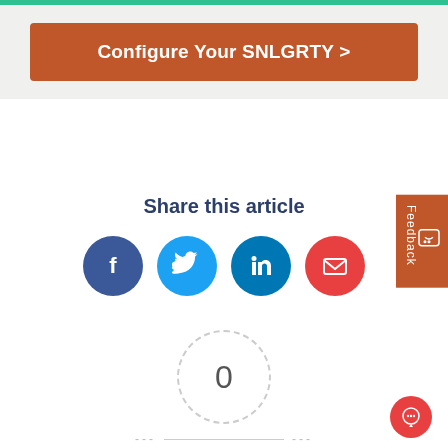Configure Your SNLGRTY >
Share this article
[Figure (infographic): Four social media sharing icons: Facebook (dark blue circle with f logo), Twitter (light blue circle with bird logo), LinkedIn (blue circle with in logo), Email (red circle with envelope icon)]
[Figure (infographic): Article rating widget showing a dashed circle with 0 in the center, dashes on left and right, text 'Article Rating', and five empty grey stars below]
[Figure (infographic): Orange Feedback tab on right side with a smiley face icon below]